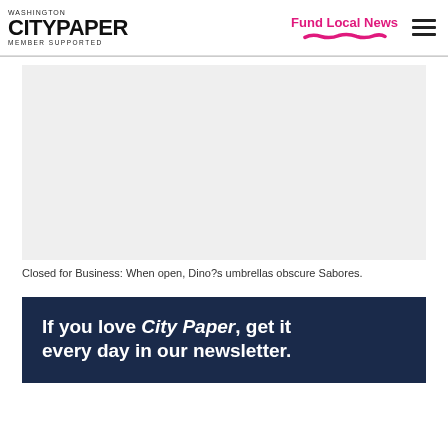Washington City Paper — MEMBER SUPPORTED | Fund Local News
[Figure (photo): A light gray rectangular placeholder image representing a photograph of the exterior of Dino's restaurant with umbrellas obscuring Sabores.]
Closed for Business: When open, Dino?s umbrellas obscure Sabores.
If you love City Paper, get it every day in our newsletter.